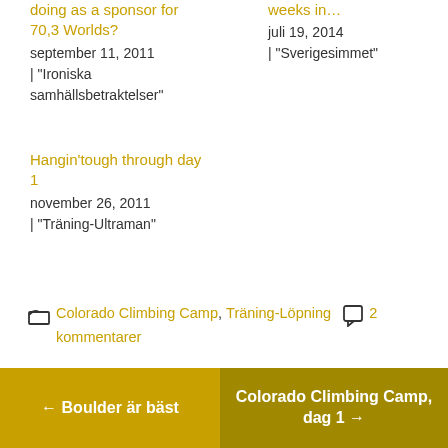doing as a sponsor for 70,3 Worlds?
september 11, 2011
| "Ironiska samhällsbetraktelser"
weeks in…
juli 19, 2014
| "Sverigesimmet"
Hangin'tough through day 1
november 26, 2011
| "Träning-Ultraman"
Colorado Climbing Camp, Träning-Löpning  2 kommentarer
← Boulder är bäst
Colorado Climbing Camp, dag 1 →